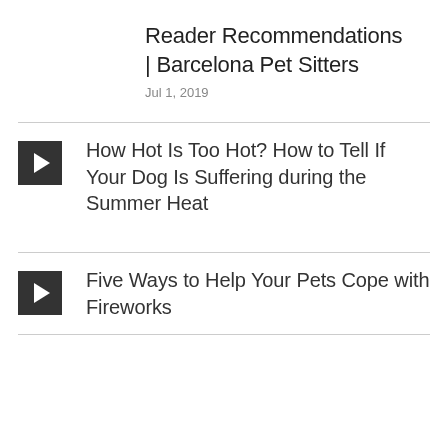Reader Recommendations | Barcelona Pet Sitters
Jul 1, 2019
How Hot Is Too Hot? How to Tell If Your Dog Is Suffering during the Summer Heat
Five Ways to Help Your Pets Cope with Fireworks